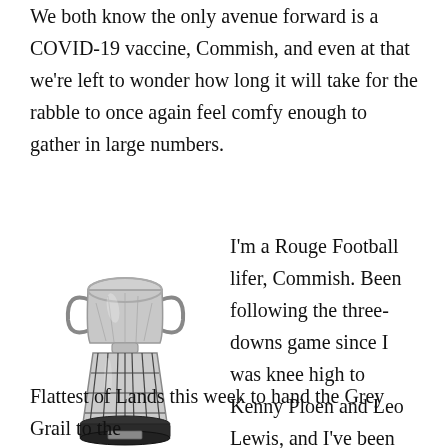We both know the only avenue forward is a COVID-19 vaccine, Commish, and even at that we're left to wonder how long it will take for the rabble to once again feel comfy enough to gather in large numbers.
[Figure (photo): A silver trophy cup (resembling the Grey Cup) with two handles on top, sitting on a dark cylindrical base with vertical black lines, placed on a round black platform.]
I'm a Rouge Football lifer, Commish. Been following the three-downs game since I was knee high to Kenny Ploen and Leo Lewis, and I've been scribbling about it since 1980. That's taking in a lot of territory. So I feel your pain. You should be on the Flattest of Lands this week to hand the Grey Grail to the